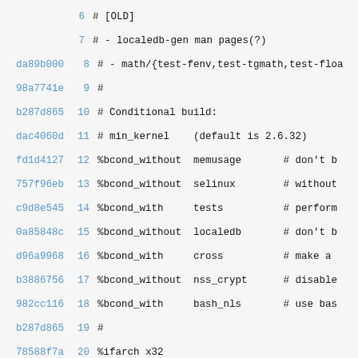6    # [OLD]
7    # - localedb-gen man pages(?)
da89b000 8    # - math/{test-fenv,test-tgmath,test-floa
98a7741e 9    #
b287d865 10   # Conditional build:
dac4060d 11   # min_kernel    (default is 2.6.32)
fd1d4127 12   %bcond_without  memusage       # don't b
757f96eb 13   %bcond_without  selinux        # without
c9d8e545 14   %bcond_with     tests          # perform
0a85848c 15   %bcond_without  localedb       # don't b
d96a9968 16   %bcond_with     cross          # make a
b3886756 17   %bcond_without  nss_crypt      # disable
982cc116 18   %bcond_with     bash_nls       # use bas
b287d865 19   #
78588f7a 20   %ifarch x32